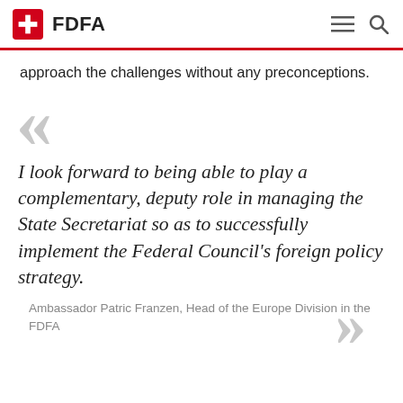FDFA
approach the challenges without any preconceptions.
I look forward to being able to play a complementary, deputy role in managing the State Secretariat so as to successfully implement the Federal Council's foreign policy strategy.
Ambassador Patric Franzen, Head of the Europe Division in the FDFA